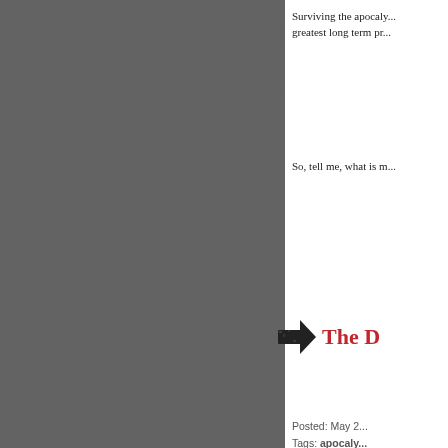[Figure (photo): Dark grey background image occupying the left two-thirds of the page, with a torn paper edge effect on the right side.]
Surviving the apocaly... greatest long term pr...
So, tell me, what is m...
The D...
Posted: May 2...
Tags: apocaly...
The apocalypse has ... forms of the media—...
Where zombies used... b...
Privacy & Cookies: This site uses cookies. By continuing to use this website, you agree to their use.
To find out more, including how to control cookies, see here: Cookie Policy
Close and accept